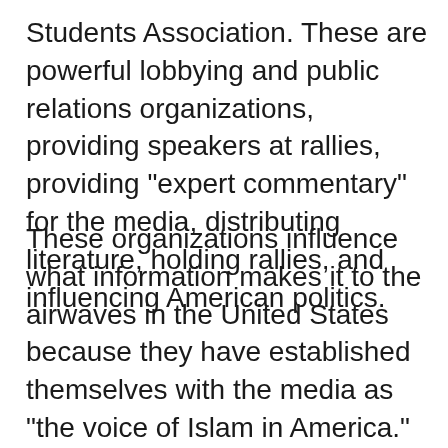Students Association. These are powerful lobbying and public relations organizations, providing speakers at rallies, providing "expert commentary" for the media, distributing literature, holding rallies, and influencing American politics.
These organizations influence what information makes it to the airwaves in the United States because they have established themselves with the media as "the voice of Islam in America." They are extremely well-funded by rich Wahhabis in Saudi Arabia. And they are well-organized, fully maximizing the freedom of speech and religion we enjoy in the free world. And they are taking advantage of the fact that most Westerners know almost